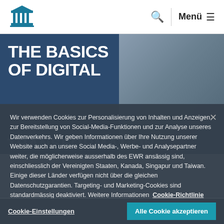[Figure (logo): Pillared building / institution logo in teal/blue]
🔍  Menü ≡
[Figure (photo): Hero image with text 'THE BASICS OF DIGITAL TRANSFORMATION' overlaid on dark blue background with a man's face on the right side]
THE BASICS OF DIGITAL TRANSFORMATION
Wir verwenden Cookies zur Personalisierung von Inhalten und Anzeigen, zur Bereitstellung von Social-Media-Funktionen und zur Analyse unseres Datenverkehrs. Wir geben Informationen über Ihre Nutzung unserer Website auch an unsere Social Media-, Werbe- und Analysepartner weiter, die möglicherweise ausserhalb des EWR ansässig sind, einschliesslich der Vereinigten Staaten, Kanada, Singapur und Taiwan. Einige dieser Länder verfügen nicht über die gleichen Datenschutzgarantien. Targeting- und Marketing-Cookies sind standardmässig deaktiviert. Weitere Informationen Cookie-Richtlinie
Cookie-Einstellungen
Alle Cookie akzeptieren